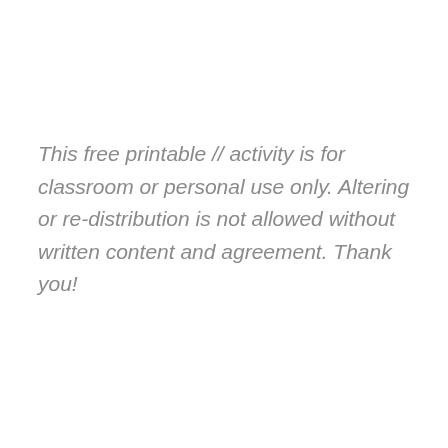This free printable // activity is for classroom or personal use only. Altering or re-distribution is not allowed without written content and agreement. Thank you!